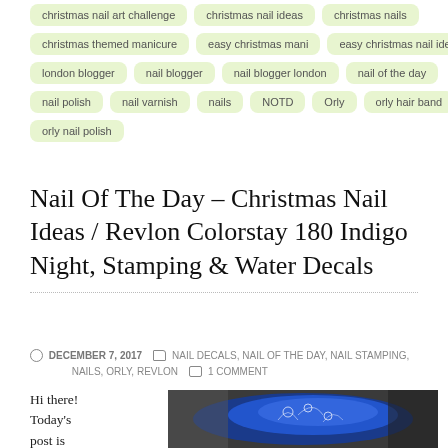christmas nail art challenge
christmas nail ideas
christmas nails
christmas themed manicure
easy christmas mani
easy christmas nail ideas
london blogger
nail blogger
nail blogger london
nail of the day
nail polish
nail varnish
nails
NOTD
Orly
orly hair band
orly nail polish
Nail Of The Day – Christmas Nail Ideas / Revlon Colorstay 180 Indigo Night, Stamping & Water Decals
DECEMBER 7, 2017   NAIL DECALS, NAIL OF THE DAY, NAIL STAMPING, NAILS, ORLY, REVLON   1 COMMENT
Hi there! Today's post is about
[Figure (photo): Close-up photo of a fingernail painted dark blue/indigo with white floral stamping design]